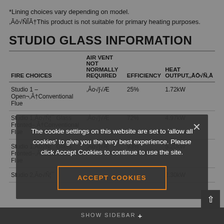*Lining choices vary depending on model.
“This product is not suitable for primary heating purposes.
STUDIO GLASS INFORMATION
| FIRE CHOICES | AIR VENT NOT NORMALLY REQUIRED | EFFICIENCY | HEAT OUTPUT,“ |
| --- | --- | --- | --- |
| Studio 1 – Open—Conventional Flue | “√Æ | 25% | 1.72kW |
| Studio 1“ Glass Fronted—Conventional Flue | “√Æ | 72% | 4.97kW |
| Studio 1“ Glass Fronted—Balanced Flue | “√Æ | 93% | 5.20kW |
| Studio 2“ |  |  | 2.30kW |
The cookie settings on this website are set to 'allow all cookies' to give you the very best experience. Please click Accept Cookies to continue to use the site.